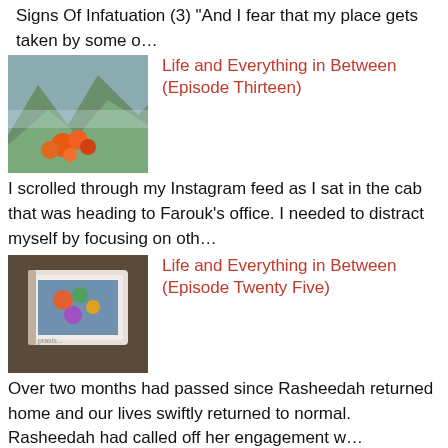Signs Of Infatuation (3) “And I fear that my place gets taken by some o…
[Figure (photo): Thumbnail image of flowers on a hillside]
Life and Everything in Between (Episode Thirteen)
I scrolled through my Instagram feed as I sat in the cab that was heading to Farouk’s office. I needed to distract myself by focusing on oth…
[Figure (photo): Thumbnail image of a book or tablet on a surface]
Life and Everything in Between (Episode Twenty Five)
Over two months had passed since Rasheedah returned home and our lives swiftly returned to normal. Rasheedah had called off her engagement w…
[Figure (photo): Thumbnail image of a coffee mug]
6 Fascinating Facts About Coffee
Millions of people worldwide make a habit